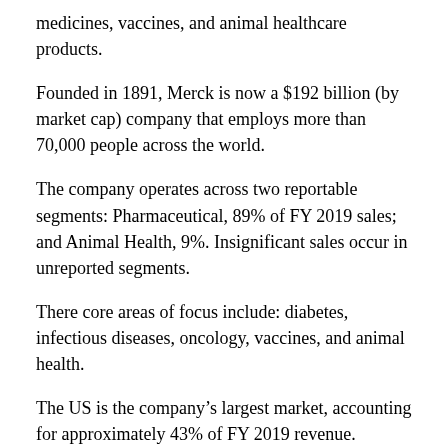medicines, vaccines, and animal healthcare products.
Founded in 1891, Merck is now a $192 billion (by market cap) company that employs more than 70,000 people across the world.
The company operates across two reportable segments: Pharmaceutical, 89% of FY 2019 sales; and Animal Health, 9%. Insignificant sales occur in unreported segments.
There core areas of focus include: diabetes, infectious diseases, oncology, vaccines, and animal health.
The US is the company's largest market, accounting for approximately 43% of FY 2019 revenue.
Some of the company's key drugs are Keytruda, Januvia, Gardasil, and ProQuad.